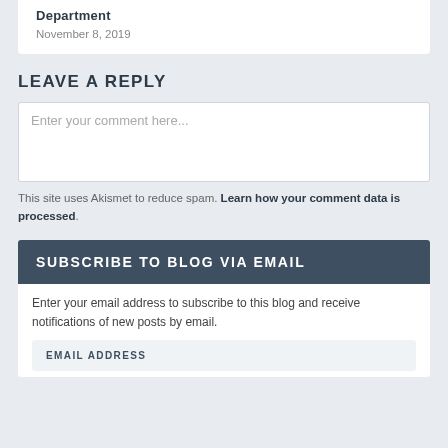Department
November 8, 2019
LEAVE A REPLY
Enter your comment here...
This site uses Akismet to reduce spam. Learn how your comment data is processed.
SUBSCRIBE TO BLOG VIA EMAIL
Enter your email address to subscribe to this blog and receive notifications of new posts by email.
EMAIL ADDRESS